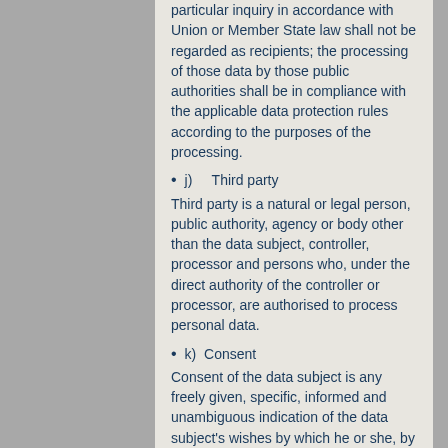particular inquiry in accordance with Union or Member State law shall not be regarded as recipients; the processing of those data by those public authorities shall be in compliance with the applicable data protection rules according to the purposes of the processing.
j)    Third party
Third party is a natural or legal person, public authority, agency or body other than the data subject, controller, processor and persons who, under the direct authority of the controller or processor, are authorised to process personal data.
k)   Consent
Consent of the data subject is any freely given, specific, informed and unambiguous indication of the data subject's wishes by which he or she, by a statement or by a clear affirmative action, signifies agreement to the processing of personal data relating to him or her.
2. Name and Address of the controller Controller for the purposes of the General